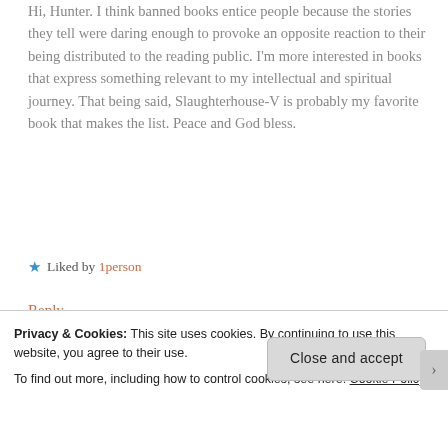Hi, Hunter. I think banned books entice people because the stories they tell were daring enough to provoke an opposite reaction to their being distributed to the reading public. I'm more interested in books that express something relevant to my intellectual and spiritual journey. That being said, Slaughterhouse-V is probably my favorite book that makes the list. Peace and God bless.
★ Liked by 1person
Reply
Privacy & Cookies: This site uses cookies. By continuing to use this website, you agree to their use.
To find out more, including how to control cookies, see here: Cookie Policy
Close and accept